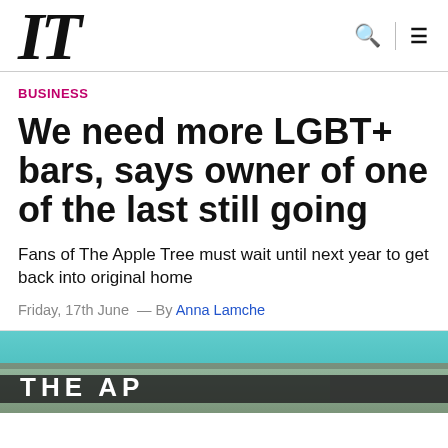IT
BUSINESS
We need more LGBT+ bars, says owner of one of the last still going
Fans of The Apple Tree must wait until next year to get back into original home
Friday, 17th June — By Anna Lamche
[Figure (photo): Exterior photo of The Apple Tree pub/bar showing the sign reading 'THE AP...' with a teal/turquoise color scheme and brick building facade]